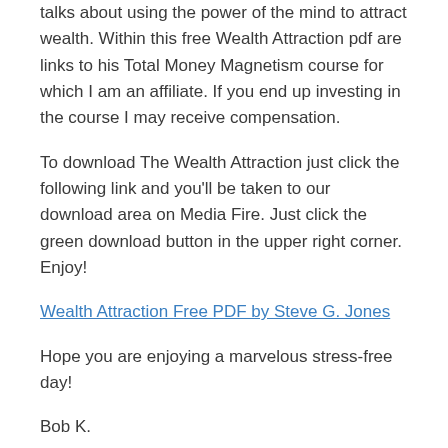talks about using the power of the mind to attract wealth. Within this free Wealth Attraction pdf are links to his Total Money Magnetism course for which I am an affiliate. If you end up investing in the course I may receive compensation.
To download The Wealth Attraction just click the following link and you'll be taken to our download area on Media Fire. Just click the green download button in the upper right corner. Enjoy!
Wealth Attraction Free PDF by Steve G. Jones
Hope you are enjoying a marvelous stress-free day!
Bob K.